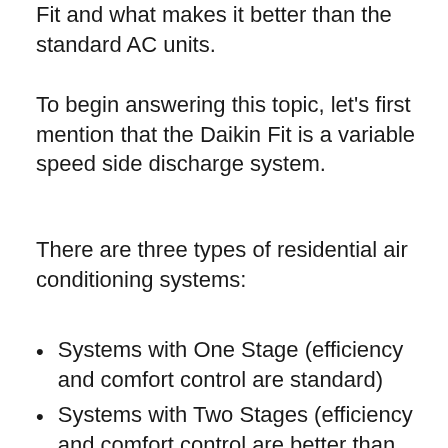Fit and what makes it better than the standard AC units.
To begin answering this topic, let's first mention that the Daikin Fit is a variable speed side discharge system.
There are three types of residential air conditioning systems:
Systems with One Stage (efficiency and comfort control are standard)
Systems with Two Stages (efficiency and comfort control are better than standard, but not ideal)